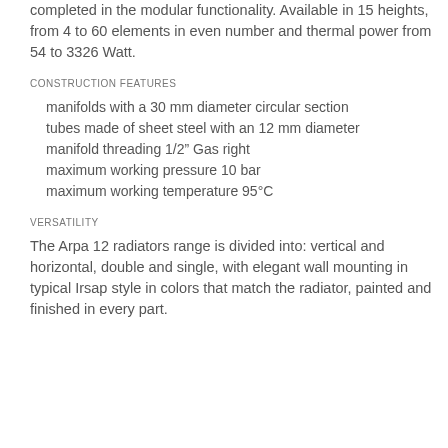completed in the modular functionality. Available in 15 heights, from 4 to 60 elements in even number and thermal power from 54 to 3326 Watt.
CONSTRUCTION FEATURES
manifolds with a 30 mm diameter circular section
tubes made of sheet steel with an 12 mm diameter
manifold threading 1/2" Gas right
maximum working pressure 10 bar
maximum working temperature 95°C
VERSATILITY
The Arpa 12 radiators range is divided into: vertical and horizontal, double and single, with elegant wall mounting in typical Irsap style in colors that match the radiator, painted and finished in every part.